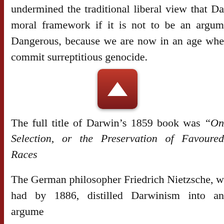undermined the traditional liberal view that Da moral framework if it is not to be an argum Dangerous, because we are now in an age whe commit surreptitious genocide.
[Figure (other): Red rounded-rectangle scroll-up button with white upward-pointing triangle arrow]
The full title of Darwin's 1859 book was "On Selection, or the Preservation of Favoured Races
The German philosopher Friedrich Nietzsche, w had by 1886, distilled Darwinism into an argume
In "Beyond Good and Evil" he argued that in ev power" that "will strive to grow, spread, seize, b